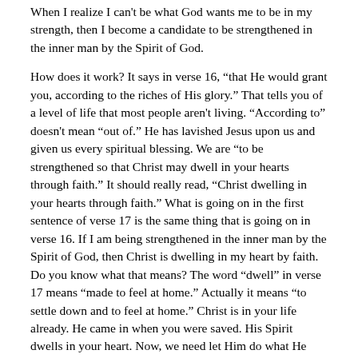When I realize I can't be what God wants me to be in my strength, then I become a candidate to be strengthened in the inner man by the Spirit of God.
How does it work? It says in verse 16, “that He would grant you, according to the riches of His glory.” That tells you of a level of life that most people aren't living. “According to” doesn't mean “out of.” He has lavished Jesus upon us and given us every spiritual blessing. We are “to be strengthened so that Christ may dwell in your hearts through faith.” It should really read, “Christ dwelling in your hearts through faith.” What is going on in the first sentence of verse 17 is the same thing that is going on in verse 16. If I am being strengthened in the inner man by the Spirit of God, then Christ is dwelling in my heart by faith. Do you know what that means? The word “dwell” in verse 17 means “made to feel at home.” Actually it means “to settle down and to feel at home.” Christ is in your life already. He came in when you were saved. His Spirit dwells in your heart. Now, we need let Him do what He came into our lives to do.
Most of us are frustrating the very grace of God. He has given us Himself and said, “Now trust Me. You work with Me. Cooperate with Me. Obey Me. I will do what you can't do and show you what the Christian life is all about.” Jealousy locks Him out. Bitterness